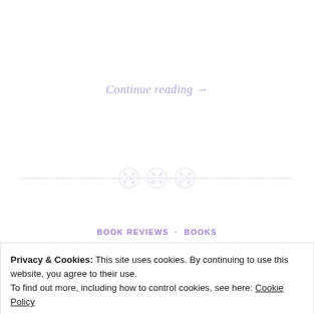Continue reading →
[Figure (illustration): Three button icons arranged horizontally with a dashed divider line across the full width]
BOOK REVIEWS · BOOKS
Privacy & Cookies: This site uses cookies. By continuing to use this website, you agree to their use.
To find out more, including how to control cookies, see here: Cookie Policy
Close and accept